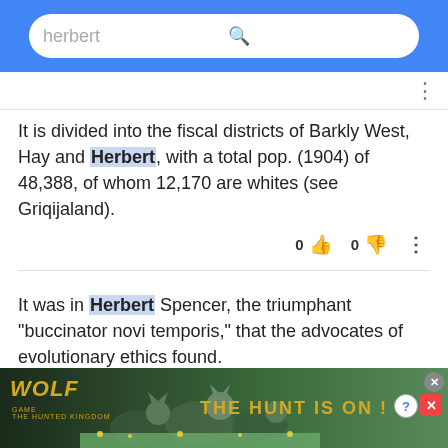herbert (search bar)
It is divided into the fiscal districts of Barkly West, Hay and Herbert, with a total pop. (1904) of 48,388, of whom 12,170 are whites (see Griqijaland).
It was in Herbert Spencer, the triumphant "buccinator novi temporis," that the advocates of evolutionary ethics found.
[Figure (infographic): Wolf Game: The Hunted Kingdom advertisement banner with wolves and golden text 'THE HUNT IS ON!']